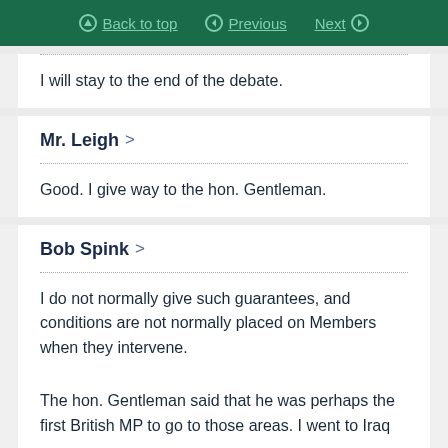Back to top  Previous  Next
I will stay to the end of the debate.
Mr. Leigh >
Good. I give way to the hon. Gentleman.
Bob Spink >
I do not normally give such guarantees, and conditions are not normally placed on Members when they intervene.
The hon. Gentleman said that he was perhaps the first British MP to go to those areas. I went to Iraq